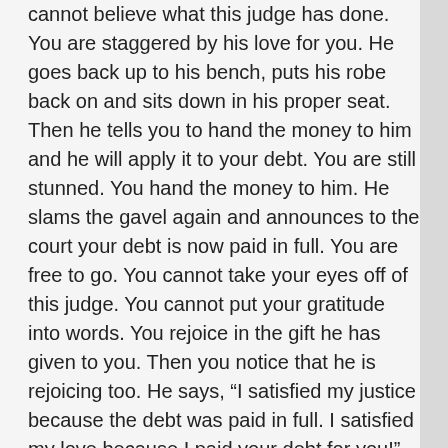cannot believe what this judge has done. You are staggered by his love for you. He goes back up to his bench, puts his robe back on and sits down in his proper seat. Then he tells you to hand the money to him and he will apply it to your debt. You are still stunned. You hand the money to him. He slams the gavel again and announces to the court your debt is now paid in full. You are free to go. You cannot take your eyes off of this judge. You cannot put your gratitude into words. You rejoice in the gift he has given to you. Then you notice that he is rejoicing too. He says, “I satisfied my justice because the debt was paid in full. I satisfied my love because I paid your debt for you!” You will never be the same again.
A person may think to himself, “Why is this